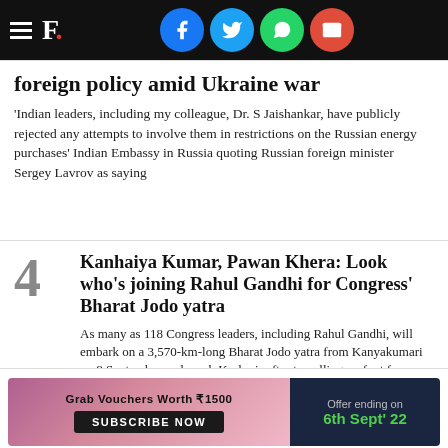F. [Firstpost logo with social share icons: Facebook, Twitter, WhatsApp, Email]
foreign policy amid Ukraine war
'Indian leaders, including my colleague, Dr. S Jaishankar, have publicly rejected any attempts to involve them in restrictions on the Russian energy purchases' Indian Embassy in Russia quoting Russian foreign minister Sergey Lavrov as saying
4 Kanhaiya Kumar, Pawan Khera: Look who's joining Rahul Gandhi for Congress' Bharat Jodo yatra
As many as 118 Congress leaders, including Rahul Gandhi, will embark on a 3,570-km-long Bharat Jodo yatra from Kanyakumari on 8 September and reach Kashmir after travelling on foot for over 100 days
5 Chaos at Delhi airport, delays abroad: Why are Lufthansa pilots on strike?
T... celled w... d... per
Ad: Grab Vouchers Worth ₹1500 | SUBSCRIBE NOW | Offer ending on 6th Sept' 22